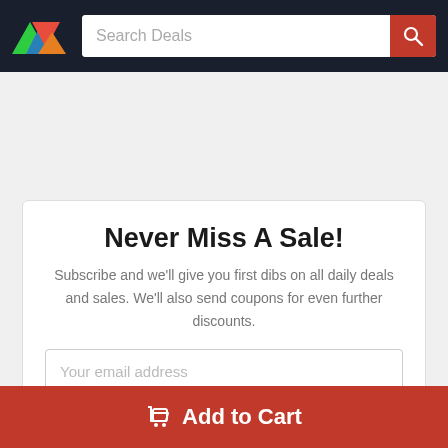Search Deals
Never Miss A Sale!
Subscribe and we'll give you first dibs on all daily deals and sales. We'll also send coupons for even further discounts.
Your email address
Add to Cart